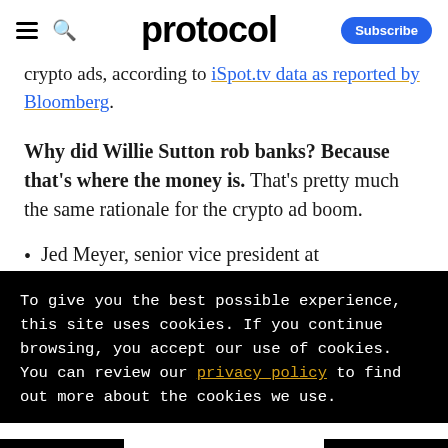protocol | Subscribe
crypto ads, according to iSpot.tv data as reported by Bloomberg.
Why did Willie Sutton rob banks? Because that's where the money is. That's pretty much the same rationale for the crypto ad boom.
Jed Meyer, senior vice president at
To give you the best possible experience, this site uses cookies. If you continue browsing, you accept our use of cookies. You can review our privacy policy to find out more about the cookies we use.
Accept